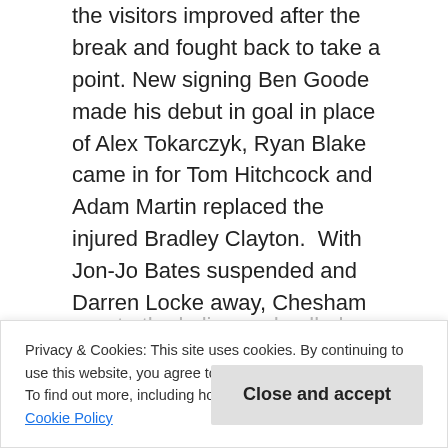the visitors improved after the break and fought back to take a point. New signing Ben Goode made his debut in goal in place of Alex Tokarczyk, Ryan Blake came in for Tom Hitchcock and Adam Martin replaced the injured Bradley Clayton.  With Jon-Jo Bates suspended and Darren Locke away, Chesham only fielded four substitutes.
After a quiet start Chesham had the first effort on goal in the thirteenth minute, Ryan Blake firing in a shot that keeper Liam Armstrong fumbled at the expense of a corner.  Dave Pearce's kick came to Lewis Rolfe beyond the far post who side-footed the ball back in but over the bar.  Midway through the half Adam Martin worked his way to the byline and pulled a cross back to Dave Pearce whose shot was blocked.  Two minutes later Matt Bevans' 30-yard free kick beat Armstrong but Tom Gardner got back to head the ball round the post from close to the line.  Thirty minutes Jefferson Louis fired in a shot that Armstrong tipped round the post, and from the resulting corner
Privacy & Cookies: This site uses cookies. By continuing to use this website, you agree to their use. To find out more, including how to control cookies, see here: Cookie Policy